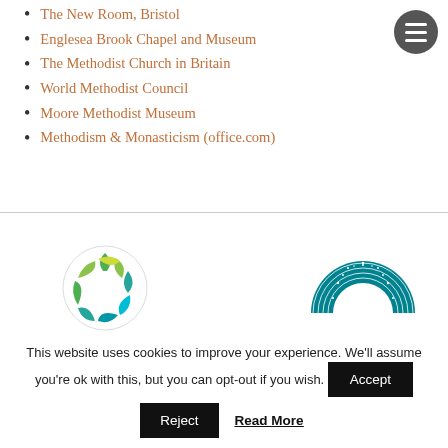The Museum of Methodism and John Wesley's House
The New Room, Bristol
Englesea Brook Chapel and Museum
The Methodist Church in Britain
World Methodist Council
Moore Methodist Museum
Methodism & Monasticism (office.com)
[Figure (logo): Green and blue circular cross logo (Methodist Church logo)]
[Figure (logo): Teal blue semicircular dotted/hatched logo]
This website uses cookies to improve your experience. We'll assume you're ok with this, but you can opt-out if you wish.
Accept
Reject
Read More